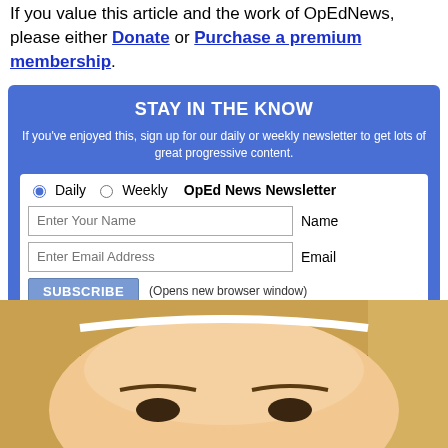If you value this article and the work of OpEdNews, please either Donate or Purchase a premium membership.
STAY IN THE KNOW
If you've enjoyed this, sign up for our daily or weekly newsletter to get lots of great progressive content.
Daily / Weekly / OpEd News Newsletter — form with Name, Email fields and SUBSCRIBE button (Opens new browser window)
Around the Web
[Figure (photo): Close-up photo of a young blonde woman's face, cropped at forehead and nose level]